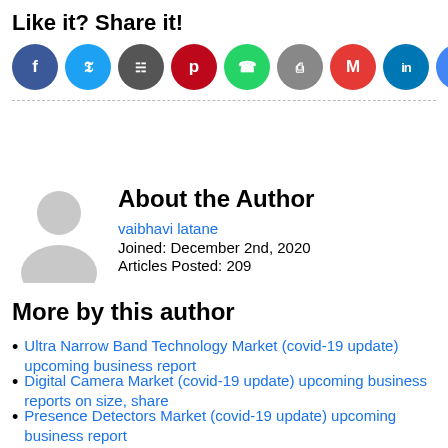Like it? Share it!
[Figure (infographic): Row of 10 social sharing icon circles: Facebook (blue), Twitter (light blue), Share (dark gray), Pinterest (red), WhatsApp (green), Print (gray), Gmail (red), LinkedIn (teal), Google (blue), More (orange)]
About the Author
[Figure (illustration): Generic gray avatar silhouette (person icon)]
vaibhavi latane
Joined: December 2nd, 2020
Articles Posted: 209
More by this author
Ultra Narrow Band Technology Market (covid-19 update) upcoming business report
Digital Camera Market (covid-19 update) upcoming business reports on size, share
Presence Detectors Market (covid-19 update) upcoming business report
Trending Articles | Register | Login
Copyright © 2010-2022 Uberant.com